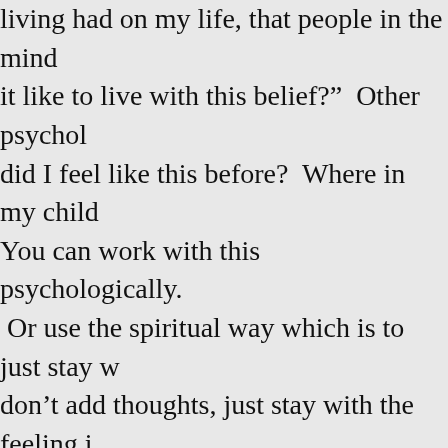living had on my life, that people in the mind it like to live with this belief?" Other psychol did I feel like this before? Where in my child You can work with this psychologically. Or use the spiritual way which is to just stay w don't add thoughts, just stay with the feeling i Perhaps to another feeling and you can stay w emptiness, which could lead to a spiritual expe of essence, which according to the Enneagram The fourth step is Nurturing.   Don't forget to Whatever you do now. That is your future.  W chance to awaken.  You can go from dread of  happening, to curiosity.  How will this help m comfortable, but this will lead to growth.  You comfort zone; to this is where I want to be. This happens to everyone, alternation - comfo pain.  If have all pleasure, we can become aro experience a lot of wretchedness, hunger, pai